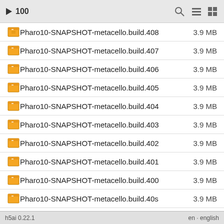▶ 100
Pharo10-SNAPSHOT-metacello.build.408   3.9 MB
Pharo10-SNAPSHOT-metacello.build.407   3.9 MB
Pharo10-SNAPSHOT-metacello.build.406   3.9 MB
Pharo10-SNAPSHOT-metacello.build.405   3.9 MB
Pharo10-SNAPSHOT-metacello.build.404   3.9 MB
Pharo10-SNAPSHOT-metacello.build.403   3.9 MB
Pharo10-SNAPSHOT-metacello.build.402   3.9 MB
Pharo10-SNAPSHOT-metacello.build.401   3.9 MB
Pharo10-SNAPSHOT-metacello.build.400   3.9 MB
Pharo10-SNAPSHOT-metacello.build.40s   3.9 MB
Pharo10-SNAPSHOT-metacello.build.40s   3.8 MB
h5ai 0.22.1   en - english